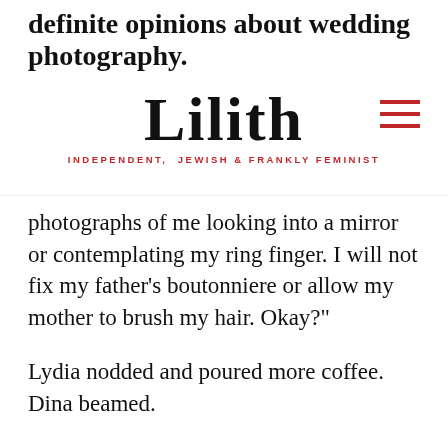definite opinions about wedding photography. Lilith INDEPENDENT, JEWISH & FRANKLY FEMINIST
photographs of me looking into a mirror or contemplating my ring finger. I will not fix my father’s boutonniere or allow my mother to brush my hair. Okay?”
Lydia nodded and poured more coffee. Dina beamed.
The wedding was in only two weeks. The previous photographer—Rachel’s close friend —had just been given an opportunity to accompany a biological expedition to Bolivia. It impressed Dina that Rachel knew those